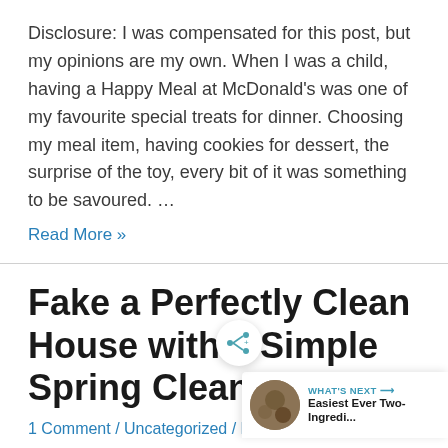Disclosure: I was compensated for this post, but my opinions are my own. When I was a child, having a Happy Meal at McDonald's was one of my favourite special treats for dinner. Choosing my meal item, having cookies for dessert, the surprise of the toy, every bit of it was something to be savoured. …
Read More »
Fake a Perfectly Clean House with 3 Simple Spring Cleaning Tips
1 Comment / Uncategorized / By Kathryn